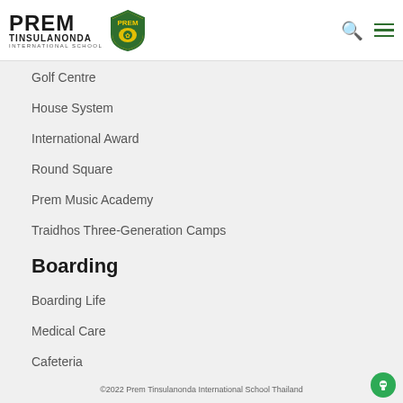PREM TINSULANONDA INTERNATIONAL SCHOOL
Golf Centre
House System
International Award
Round Square
Prem Music Academy
Traidhos Three-Generation Camps
Boarding
Boarding Life
Medical Care
Cafeteria
©2022 Prem Tinsulanonda International School Thailand